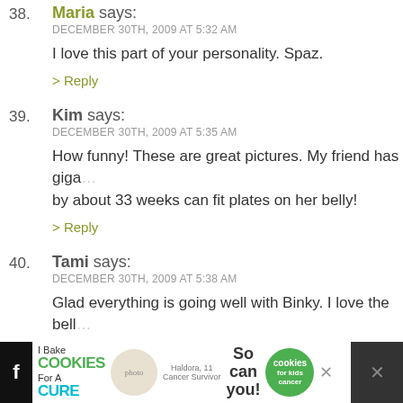38. Maria says: DECEMBER 30TH, 2009 AT 5:32 AM
I love this part of your personality. Spaz.
> Reply
39. Kim says: DECEMBER 30TH, 2009 AT 5:35 AM
How funny! These are great pictures. My friend has giga... by about 33 weeks can fit plates on her belly!
> Reply
40. Tami says: DECEMBER 30TH, 2009 AT 5:38 AM
Glad everything is going well with Binky. I love the belly... hugs to you three!!
> Reply
41. Trisha Vargas says:
[Figure (screenshot): Advertisement banner: 'I Bake COOKIES For A CURE - Haldora, 11 Cancer Survivor - So can you! cookies for kids cancer' with close button]